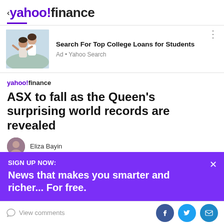< yahoo!finance
[Figure (photo): Two young women laughing outdoors in a field, one giving the other a piggyback ride]
Search For Top College Loans for Students
Ad • Yahoo Search
[Figure (logo): yahoo!finance small logo]
ASX to fall as the Queen's surprising world records are revealed
Eliza Bayin
SIGN UP NOW:
News that makes you smarter and richer... For free.
View comments